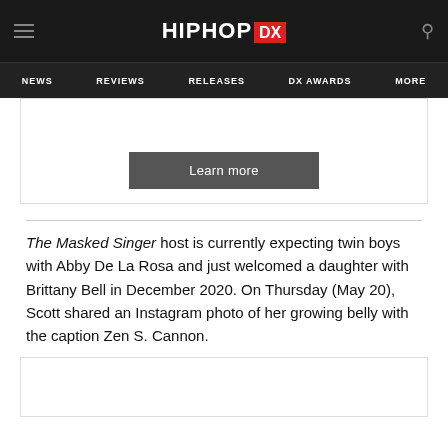HIPHOP DX — NEWS | REVIEWS | RELEASES | DX AWARDS | MORE
[Figure (other): Learn more button inside an ad box]
The Masked Singer host is currently expecting twin boys with Abby De La Rosa and just welcomed a daughter with Brittany Bell in December 2020. On Thursday (May 20), Scott shared an Instagram photo of her growing belly with the caption Zen S. Cannon.
[Figure (other): Partial ad/content box at bottom of page]